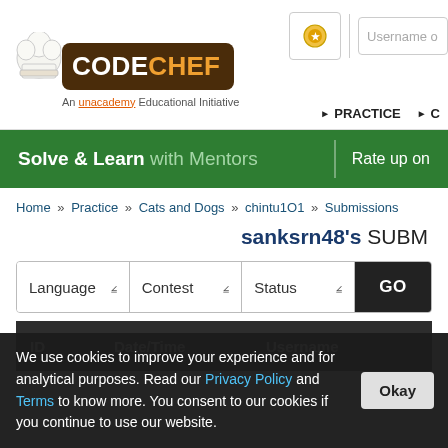[Figure (logo): CodeChef logo with chef hat, dark brown badge with CODECHEF text, An unacademy Educational Initiative tagline]
Username o | PRACTICE | C
Solve & Learn with Mentors | Rate up on
Home » Practice » Cats and Dogs » chintu1O1 » Submissions
sanksrn48's SUBM
Language [dropdown] Contest [dropdown] Status [dropdown] GO
| ID | Date/Time | Username |
| --- | --- | --- |
We use cookies to improve your experience and for analytical purposes. Read our Privacy Policy and Terms to know more. You consent to our cookies if you continue to use our website. [Okay]